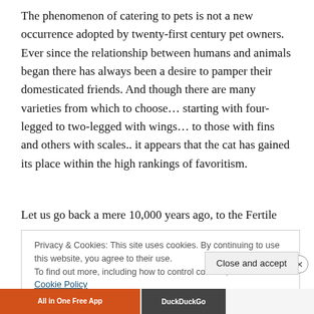The phenomenon of catering to pets is not a new occurrence adopted by twenty-first century pet owners. Ever since the relationship between humans and animals began there has always been a desire to pamper their domesticated friends. And though there are many varieties from which to choose… starting with four-legged to two-legged with wings… to those with fins and others with scales.. it appears that the cat has gained its place within the high rankings of favoritism.
Let us go back a mere 10,000 years ago, to the Fertile
Privacy & Cookies: This site uses cookies. By continuing to use this website, you agree to their use.
To find out more, including how to control cookies, see here: Cookie Policy